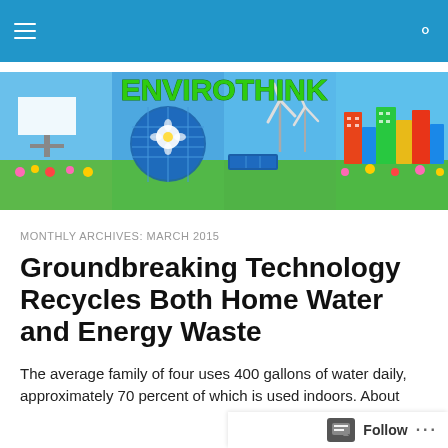ENVIROTHINK
[Figure (illustration): ENVIROTHINK website banner showing green text logo over blue sky background with panels depicting solar panels, wind turbines, green cityscape, and billboard]
MONTHLY ARCHIVES: MARCH 2015
Groundbreaking Technology Recycles Both Home Water and Energy Waste
The average family of four uses 400 gallons of water daily, approximately 70 percent of which is used indoors. About